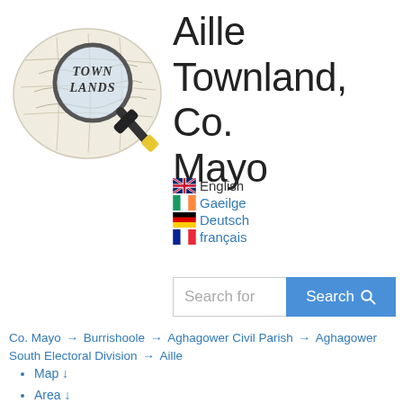[Figure (illustration): Townlands logo: a map with a magnifying glass and marker/pen over it, with text 'TOWN LANDS' visible through the magnifier]
Aille Townland, Co. Mayo
English
Gaeilge
Deutsch
français
Search for [search button]
Co. Mayo → Burrishoole → Aghagower Civil Parish → Aghagower South Electoral Division → Aille
Map ↓
Area ↓
Bordering Townlands ↓
Subtownlands ↓
Records Search ↓